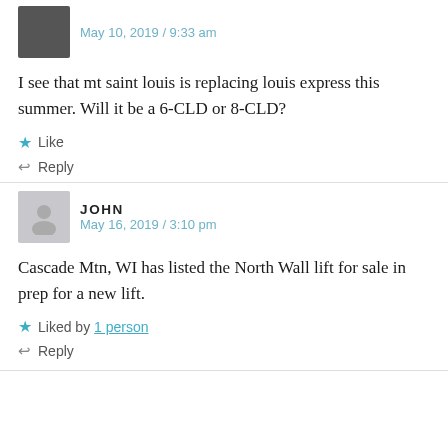May 10, 2019 / 9:33 am
I see that mt saint louis is replacing louis express this summer. Will it be a 6-CLD or 8-CLD?
Like
Reply
JOHN
May 16, 2019 / 3:10 pm
Cascade Mtn, WI has listed the North Wall lift for sale in prep for a new lift.
Liked by 1 person
Reply